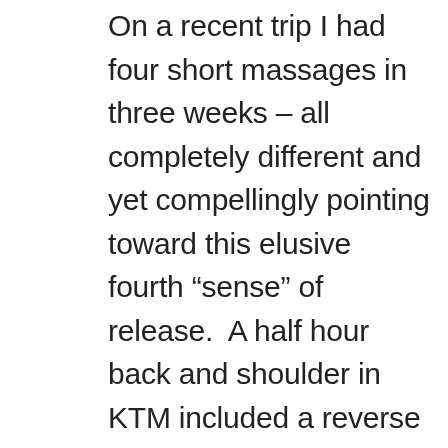On a recent trip I had four short massages in three weeks – all completely different and yet compellingly pointing toward this elusive fourth “sense” of release.  A half hour back and shoulder in KTM included a reverse guru series of knee folds which unexpectedly and positively turned me into jelly.   Forty-five minutes of reflexology when my feet were particularly worn out energized much more than feet and legs in Pokhara.  An hour foot massage in Thimpu after a stressful flight and journey revived my normal shoulder-blade stress storage without even taking my shirt off.   And a half hour back massage in Paro released what was left of the anticipatory stress of the long journey home.    There’s something